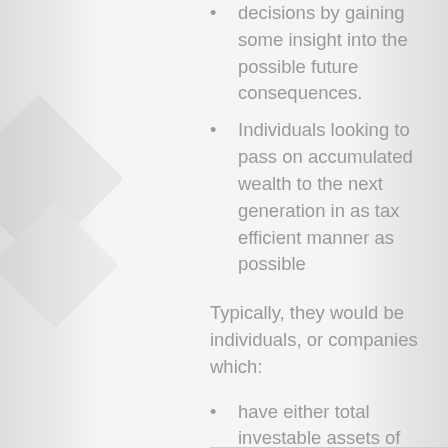decisions by gaining some insight into the possible future consequences.
Individuals looking to pass on accumulated wealth to the next generation in as tax efficient manner as possible
Typically, they would be individuals, or companies which:
have either total investable assets of €200,000 or more, or family income in excess of €100,000 pa and serious desire to build their assets
wants to simplify and bring order to their financial lives
is looking for an adviser they can trust, who will sort out their financial affairs and help them focus on their goals
value honesty, integrity and straight talking